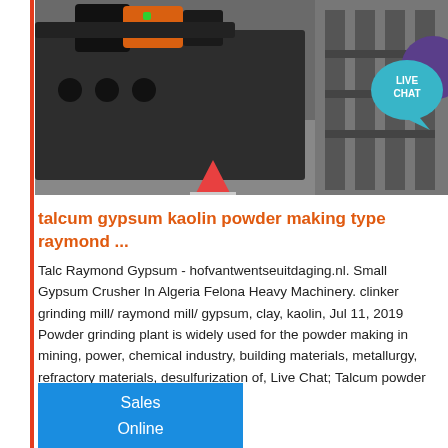[Figure (photo): Industrial machinery photo showing a large grey grinding mill/raymond mill in a factory setting with orange motor on top, cylindrical structures, and metal framework in the background. A red/orange traffic cone is visible, with a teal Live Chat bubble overlay in the upper right.]
talcum gypsum kaolin powder making type raymond ...
Talc Raymond Gypsum - hofvantwentseuitdaging.nl. Small Gypsum Crusher In Algeria Felona Heavy Machinery. clinker grinding mill/ raymond mill/ gypsum, clay, kaolin, Jul 11, 2019 Powder grinding plant is widely used for the powder making in mining, power, chemical industry, building materials, metallurgy, refractory materials, desulfurization of, Live Chat; Talcum powder grinding mill_Zeolite ...
Sales Online